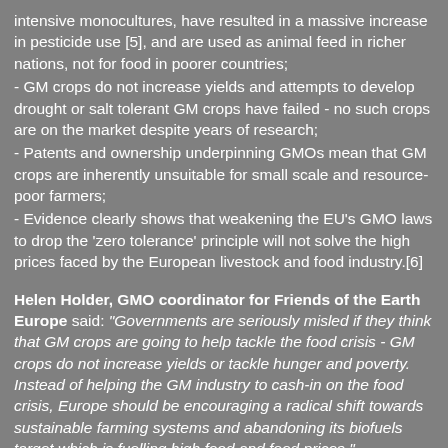intensive monocultures, have resulted in a massive increase in pesticide use [5], and are used as animal feed in richer nations, not for food in poorer countries;
- GM crops do not increase yields and attempts to develop drought or salt tolerant GM crops have failed - no such crops are on the market despite years of research;
- Patents and ownership underpinning GMOs mean that GM crops are inherently unsuitable for small scale and resource-poor farmers;
- Evidence clearly shows that weakening the EU's GMO laws to drop the 'zero tolerance' principle will not solve the high prices faced by the European livestock and food industry.[6]
Helen Holder, GMO coordinator for Friends of the Earth Europe said: "Governments are seriously misled if they think that GM crops are going to help tackle the food crisis - GM crops do not increase yields or tackle hunger and poverty. Instead of helping the GM industry to cash-in on the food crisis, Europe should be encouraging a radical shift towards sustainable farming systems and abandoning its biofuels target which is fuelling high food and feed prices."